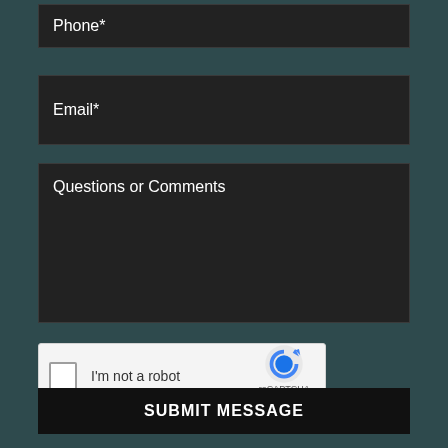Phone*
Email*
Questions or Comments
[Figure (other): reCAPTCHA widget with checkbox labeled I'm not a robot, Google reCAPTCHA logo, Privacy and Terms links]
SUBMIT MESSAGE